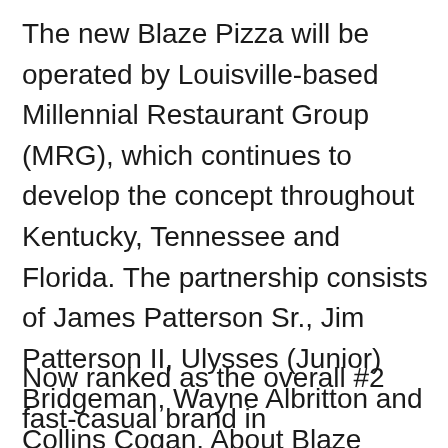The new Blaze Pizza will be operated by Louisville-based Millennial Restaurant Group (MRG), which continues to develop the concept throughout Kentucky, Tennessee and Florida. The partnership consists of James Patterson Sr., Jim Patterson II, Ulysses (Junior) Bridgeman, Wayne Albritton and Collins Cogan. About Blaze Pizza: The first Blaze Pizza® restaurant opened on Aug. 6, 2012, in Irvine, Calif., and quickly gained attention for its chef-driven recipes, thoughtful interior design, and a service culture that celebrates individuality.
Now ranked as the overall #2 fast-casual brand in FastCasual.com's annual Top 100 list, Blaze Pizza is building momentum and developing a cult-like